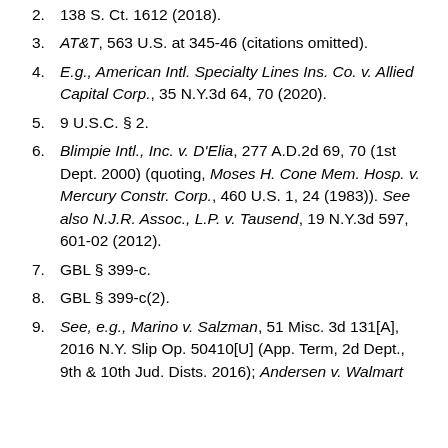2. 138 S. Ct. 1612 (2018).
3. AT&T, 563 U.S. at 345-46 (citations omitted).
4. E.g., American Intl. Specialty Lines Ins. Co. v. Allied Capital Corp., 35 N.Y.3d 64, 70 (2020).
5. 9 U.S.C. § 2.
6. Blimpie Intl., Inc. v. D'Elia, 277 A.D.2d 69, 70 (1st Dept. 2000) (quoting, Moses H. Cone Mem. Hosp. v. Mercury Constr. Corp., 460 U.S. 1, 24 (1983)). See also N.J.R. Assoc., L.P. v. Tausend, 19 N.Y.3d 597, 601-02 (2012).
7. GBL § 399-c.
8. GBL § 399-c(2).
9. See, e.g., Marino v. Salzman, 51 Misc. 3d 131[A], 2016 N.Y. Slip Op. 50410[U] (App. Term, 2d Dept., 9th & 10th Jud. Dists. 2016); Andersen v. Walmart